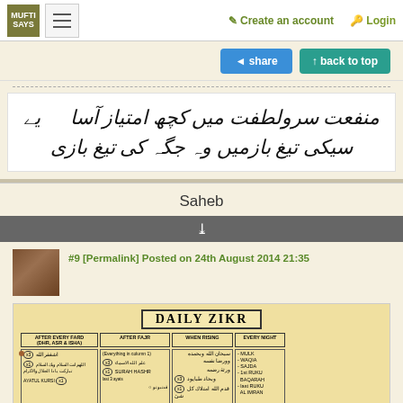MUFTI SAYS | ☰ | Create an account | Login
[Figure (screenshot): Share and back-to-top buttons]
[Figure (illustration): Urdu calligraphic text on white background]
Saheb
✓ (chevron down icon)
#9 [Permalink] Posted on 24th August 2014 21:35
[Figure (photo): Handwritten Daily Zikr chart on lined notebook paper showing columns: After Every Fard (Dhr, Asr & Isha), After Fajr, When Rising, Every Night. Contains Arabic text and dhikr instructions with multipliers (x1, x3) and Ayatul Kursi, Surah Hashr references.]